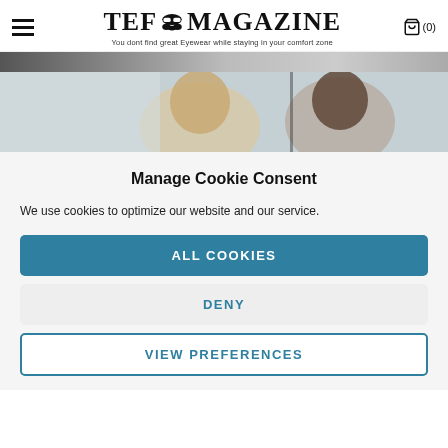TEF MAGAZINE — You dont find great Eyewear while staying in your comfort zone — (0)
[Figure (photo): Partial top photo strip showing people, cropped]
[Figure (photo): Photo of two women, one blonde and one with dark hair, in an indoor setting]
Manage Cookie Consent
We use cookies to optimize our website and our service.
ALL COOKIES
DENY
VIEW PREFERENCES